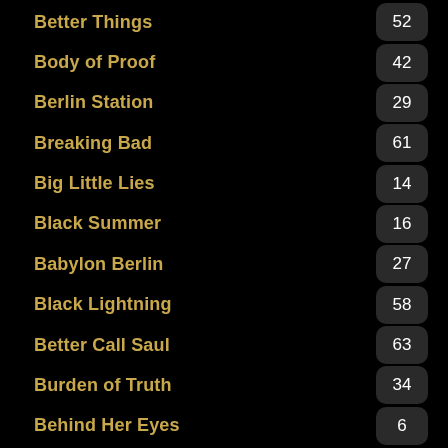Better Things — 52
Body of Proof — 42
Berlin Station — 29
Breaking Bad — 61
Big Little Lies — 14
Black Summer — 16
Babylon Berlin — 27
Black Lightning — 58
Better Call Saul — 63
Burden of Truth — 34
Behind Her Eyes — 6